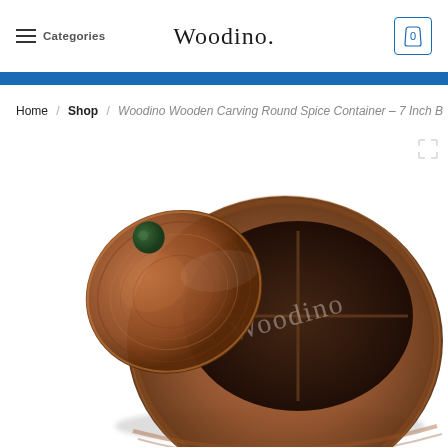Categories | Woodino. | Cart (0)
Home / Shop / Woodino Wooden Carving Round Spice Container – 7 Inch B
[Figure (photo): Woodino wooden carving round spice container with decorative lid opened, showing 4-compartment interior with cross dividers, watermarked with 'Woodino']